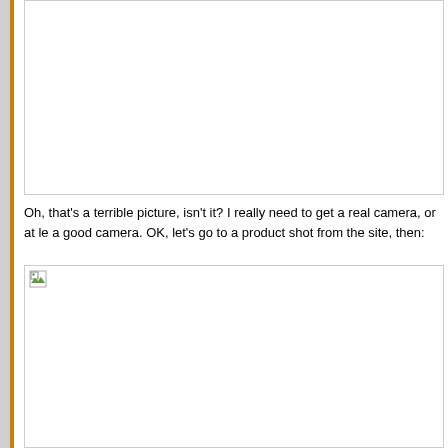[Figure (photo): Blank white image area (top), appears to be a missing or blank photo]
Oh, that's a terrible picture, isn't it? I really need to get a real camera, or at le a good camera. OK, let's go to a product shot from the site, then:
[Figure (photo): Second image area with broken image icon in top-left corner]